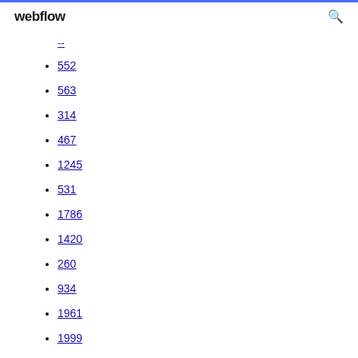webflow
--
552
563
314
467
1245
531
1786
1420
260
934
1961
1999